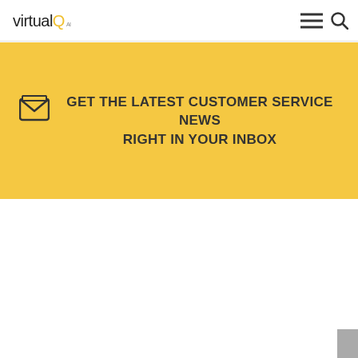virtualQ
GET THE LATEST CUSTOMER SERVICE NEWS RIGHT IN YOUR INBOX